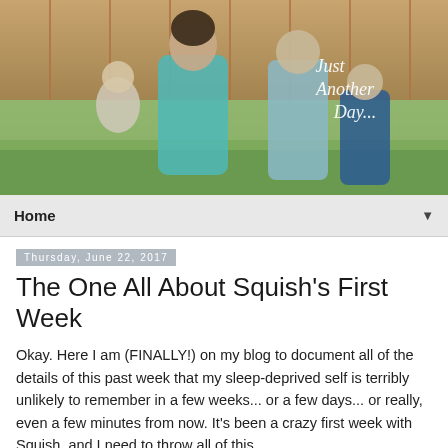[Figure (photo): Blog header photo showing a woman with glasses in a teal shirt holding a toddler, posed with two boys outdoors in front of a wooden fence on green grass. Cursive text overlay reads 'Just Another Day...' in the upper right.]
Home ▼
Thursday, June 22, 2017
The One All About Squish's First Week
Okay. Here I am (FINALLY!) on my blog to document all of the details of this past week that my sleep-deprived self is terribly unlikely to remember in a few weeks... or a few days... or really, even a few minutes from now. It's been a crazy first week with Squish, and I need to throw all of this